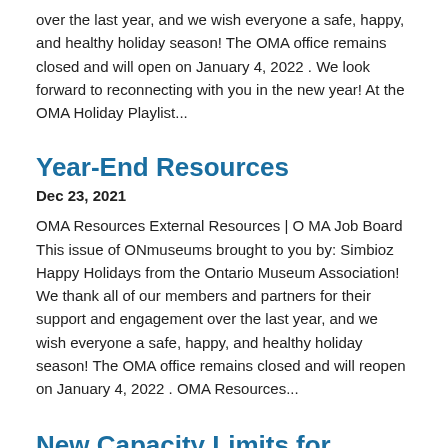over the last year, and we wish everyone a safe, happy, and healthy holiday season! The OMA office remains closed and will open on January 4, 2022 . We look forward to reconnecting with you in the new year! At the OMA Holiday Playlist...
Year-End Resources
Dec 23, 2021
OMA Resources External Resources | O MA Job Board This issue of ONmuseums brought to you by: Simbioz Happy Holidays from the Ontario Museum Association! We thank all of our members and partners for their support and engagement over the last year, and we wish everyone a safe, happy, and healthy holiday season! The OMA office remains closed and will reopen on January 4, 2022 . OMA Resources...
New Capacity Limits for Indoor Public